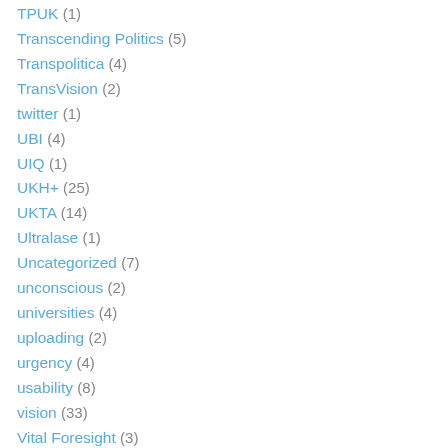TPUK (1)
Transcending Politics (5)
Transpolitica (4)
TransVision (2)
twitter (1)
UBI (4)
UIQ (1)
UKH+ (25)
UKTA (14)
Ultralase (1)
Uncategorized (7)
unconscious (2)
universities (4)
uploading (2)
urgency (4)
usability (8)
vision (33)
Vital Foresight (3)
volcano (1)